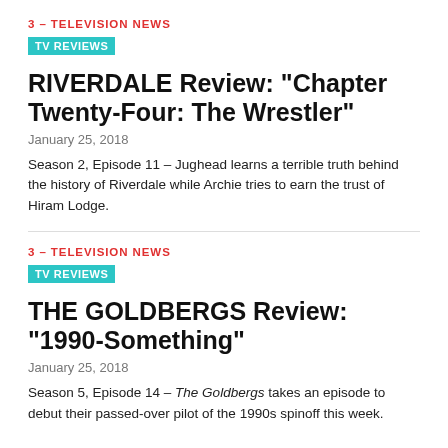3 – TELEVISION NEWS
TV REVIEWS
RIVERDALE Review: “Chapter Twenty-Four: The Wrestler”
January 25, 2018
Season 2, Episode 11 – Jughead learns a terrible truth behind the history of Riverdale while Archie tries to earn the trust of Hiram Lodge.
3 – TELEVISION NEWS
TV REVIEWS
THE GOLDBERGS Review: “1990-Something”
January 25, 2018
Season 5, Episode 14 – The Goldbergs takes an episode to debut their passed-over pilot of the 1990s spinoff this week.